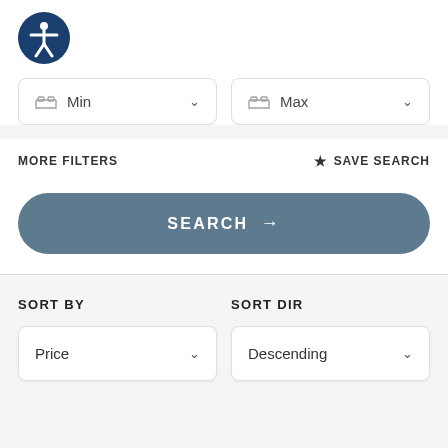[Figure (logo): Accessibility icon: dark blue circle with white human figure with arms outstretched, in universal accessibility symbol style]
Min
Max
MORE FILTERS
SAVE SEARCH
SEARCH →
SORT BY
SORT DIR
Price
Descending